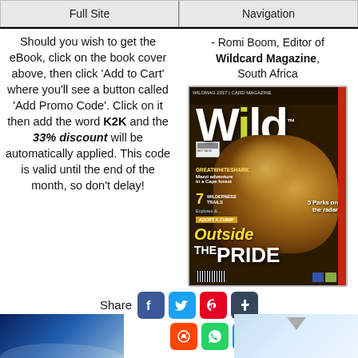Full Site | Navigation
Should you wish to get the eBook, click on the book cover above, then click 'Add to Cart' where you'll see a button called 'Add Promo Code'. Click on it then add the word K2K and the 33% discount will be automatically applied. This code is valid until the end of the month, so don't delay!
- Romi Boom, Editor of Wildcard Magazine, South Africa
[Figure (photo): Cover of Wild magazine featuring a lion, with text 'Outside THE PRIDE', '5 Parks on the radar', and other headlines]
[Figure (infographic): Share icons: Facebook, Twitter, Pinterest, Tumblr, Reddit, WhatsApp, Messenger]
[Figure (photo): Bottom strip with blue sky/earth imagery on left and right sides]